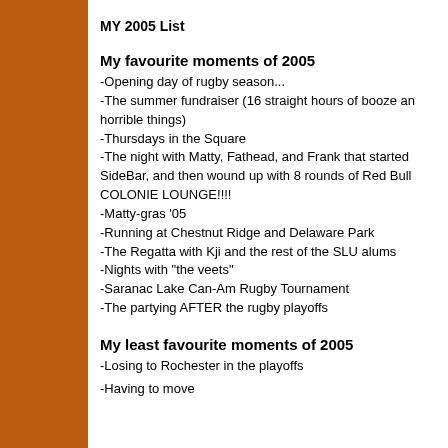MY 2005 List
My favourite moments of 2005
-Opening day of rugby season...
-The summer fundraiser (16 straight hours of booze and horrible things)
-Thursdays in the Square
-The night with Matty, Fathead, and Frank that started at SideBar, and then wound up with 8 rounds of Red Bull at COLONIE LOUNGE!!!!
-Matty-gras '05
-Running at Chestnut Ridge and Delaware Park
-The Regatta with Kji and the rest of the SLU alums
-Nights with "the veets"
-Saranac Lake Can-Am Rugby Tournament
-The partying AFTER the rugby playoffs
My least favourite moments of 2005
-Losing to Rochester in the playoffs
-Having to move